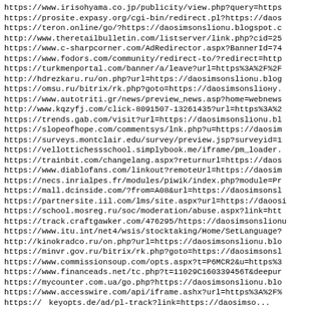https://www.irisohyama.co.jp/publicity/view.php?query=https
https://prosite.expasy.org/cgi-bin/redirect.pl?https://daos
https://teron.online/go/?https://daosimsonslionu.blogspot.c
http://www.theretailbulletin.com/listserver/link.php?cid=25
https://www.c-sharpcorner.com/AdRedirector.aspx?BannerId=74
https://www.fodors.com/community/redirect-to/?redirect=http
https://turkmenportal.com/banner/a/leave?url=https%3A%2F%2F
http://hdrezkaru.ru/on.php?url=https://daosimsonslionu.blog
https://omsu.ru/bitrix/rk.php?goto=https://daosimsonslioну.
https://www.autotriti.gr/news/preview_news.asp?home=webnews
http://www.kqzyfj.com/click-8091507-13261435?url=https%3A%2
https://trends.gab.com/visit?url=https://daosimsonslionu.bl
https://slopeofhope.com/commentsys/lnk.php?u=https://daosim
https://surveys.montclair.edu/survey/preview.jsp?surveyid=1
https://vellottichessschool.simplybook.me/iframe/pm_loader.
https://trainbit.com/changelang.aspx?returnurl=https://daos
https://www.diablofans.com/linkout?remoteUrl=https://daosim
https://necs.inrialpes.fr/modules/piwik/index.php?module=Pr
https://mall.dcinside.com/?from=A08&url=https://daosimsonsli
https://partnersite.iil.com/lms/site.aspx?url=https://daoosi
https://school.mosreg.ru/soc/moderation/abuse.aspx?link=htt
https://track.craftgawker.com/476295/https://daosimsonslionu
https://www.itu.int/net4/wsis/stocktaking/Home/SetLanguage?
http://kinokradco.ru/on.php?url=https://daosimsonslionu.blo
https://minvr.gov.ru/bitrix/rk.php?goto=https://daosimsonsl
https://www.commissionsoup.com/opts.aspx?t=P6MCR2&u=https%3
https://www.financeads.net/tc.php?t=11029C160339456T&deepur
https://mycounter.com.ua/go.php?https://daosimsonslionu.blo
https://www.accesswire.com/api/iframe.ashx?url=https%3A%2F%
https://www.keyopts.de/ad/pl-track?link=https://daosimso...